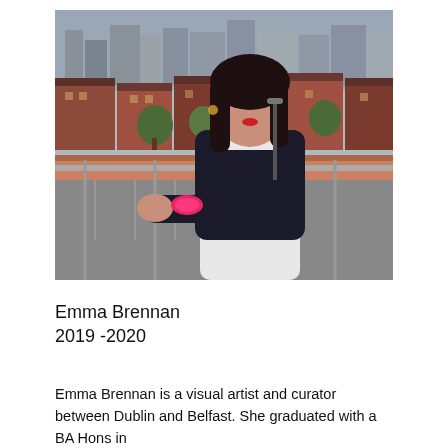[Figure (photo): A young woman with dark wavy hair and red lipstick, wearing a black sweater over a white collared shirt with a pink scrunchie on her wrist, leaning on a railing with a Belfast cityscape of red brick buildings and rooftops in the background.]
Emma Brennan
2019 -2020
Emma Brennan is a visual artist and curator between Dublin and Belfast. She graduated with a BA Hons in